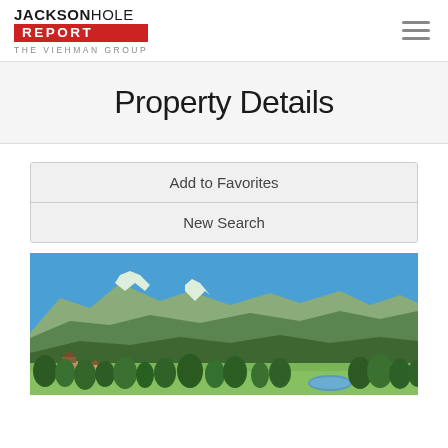[Figure (logo): Jackson Hole Report – The Viehman Group logo with red banner]
Property Details
Add to Favorites
New Search
[Figure (photo): Outdoor landscape photo showing mountain range with forested slopes under blue sky, green meadows and residential buildings in foreground with a small pond]